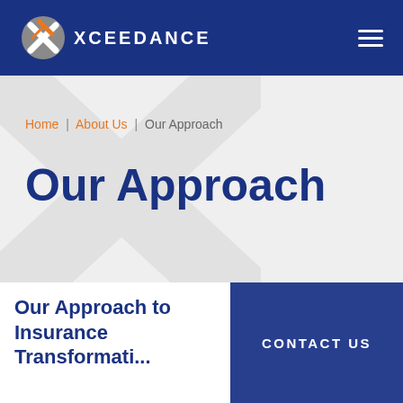XCEEDANCE
Home | About Us | Our Approach
Our Approach
Our Approach to Insurance Transformation...
CONTACT US